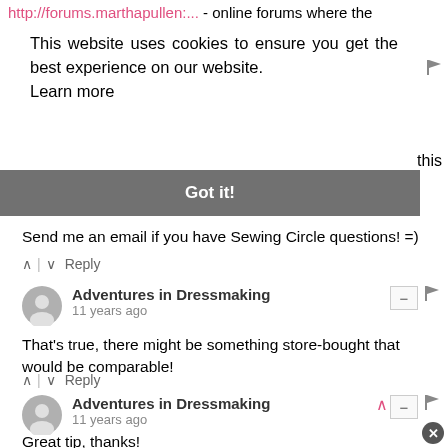http://forums.marthapullen.... - online forums where the
This website uses cookies to ensure you get the best experience on our website. Learn more
Got it!
Send me an email if you have Sewing Circle questions! =)
^ | v Reply
Adventures in Dressmaking
11 years ago
That's true, there might be something store-bought that would be comparable!
^ | v Reply
Adventures in Dressmaking
11 years ago
Great tip, thanks!